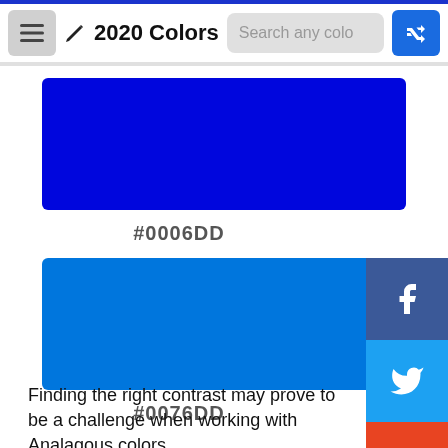2020 Colors
[Figure (other): Blue color swatch #0006DD — a deep royal blue rectangle]
#0006DD
[Figure (other): Blue color swatch #0076DD — a bright blue rectangle]
#0076DD
Finding the right contrast may prove to be a challenge when working with Analagous colors